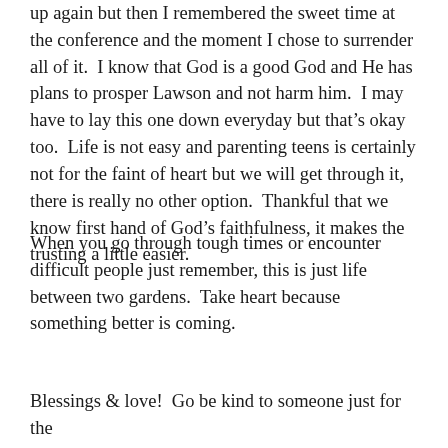up again but then I remembered the sweet time at the conference and the moment I chose to surrender all of it.  I know that God is a good God and He has plans to prosper Lawson and not harm him.  I may have to lay this one down everyday but that’s okay too.  Life is not easy and parenting teens is certainly not for the faint of heart but we will get through it, there is really no other option.  Thankful that we know first hand of God’s faithfulness, it makes the trusting a little easier.
When you go through tough times or encounter difficult people just remember, this is just life between two gardens.  Take heart because something better is coming.
Blessings & love!  Go be kind to someone just for the